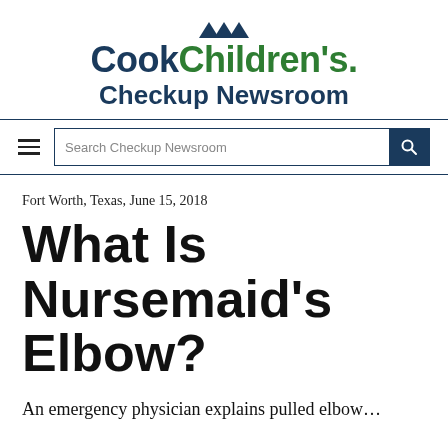Cook Children's Checkup Newsroom
Fort Worth, Texas, June 15, 2018
What Is Nursemaid's Elbow?
An emergency physician explains pulled elbow…